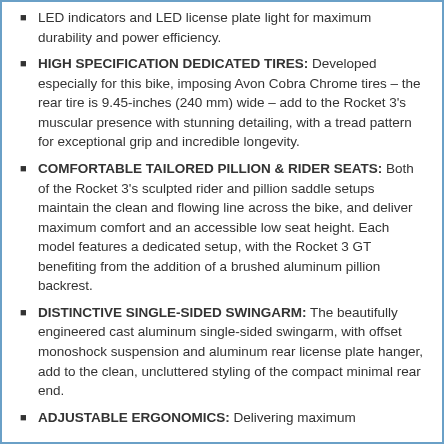LED indicators and LED license plate light for maximum durability and power efficiency.
HIGH SPECIFICATION DEDICATED TIRES: Developed especially for this bike, imposing Avon Cobra Chrome tires – the rear tire is 9.45-inches (240 mm) wide – add to the Rocket 3's muscular presence with stunning detailing, with a tread pattern for exceptional grip and incredible longevity.
COMFORTABLE TAILORED PILLION & RIDER SEATS: Both of the Rocket 3's sculpted rider and pillion saddle setups maintain the clean and flowing line across the bike, and deliver maximum comfort and an accessible low seat height. Each model features a dedicated setup, with the Rocket 3 GT benefiting from the addition of a brushed aluminum pillion backrest.
DISTINCTIVE SINGLE-SIDED SWINGARM: The beautifully engineered cast aluminum single-sided swingarm, with offset monoshock suspension and aluminum rear license plate hanger, add to the clean, uncluttered styling of the compact minimal rear end.
ADJUSTABLE ERGONOMICS: Delivering maximum…